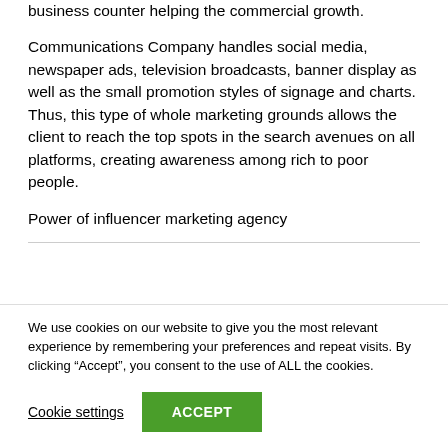eventually provide client with traffic lead at the business counter helping the commercial growth.
Communications Company handles social media, newspaper ads, television broadcasts, banner display as well as the small promotion styles of signage and charts. Thus, this type of whole marketing grounds allows the client to reach the top spots in the search avenues on all platforms, creating awareness among rich to poor people.
Power of influencer marketing agency
We use cookies on our website to give you the most relevant experience by remembering your preferences and repeat visits. By clicking “Accept”, you consent to the use of ALL the cookies.
Cookie settings
ACCEPT